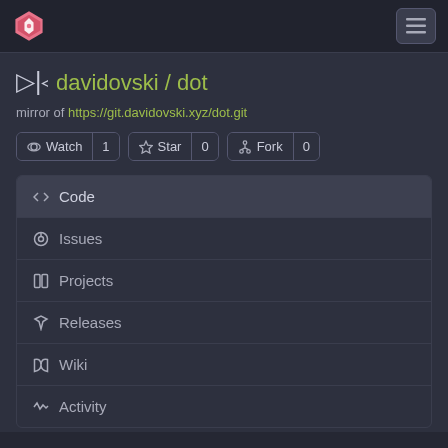[Figure (screenshot): Gitea repository page for davidovski/dot showing navigation menu with Code, Issues, Projects, Releases, Wiki, Activity items and Watch/Star/Fork buttons]
davidovski / dot
mirror of https://git.davidovski.xyz/dot.git
Watch 1
Star 0
Fork 0
Code
Issues
Projects
Releases
Wiki
Activity